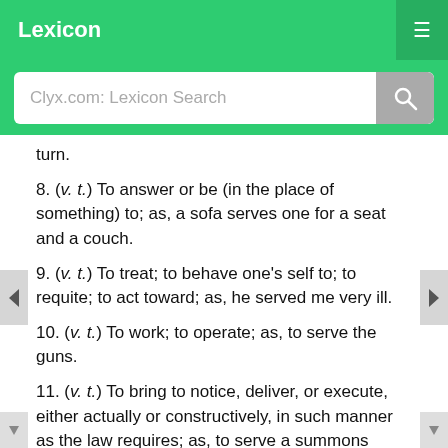Lexicon
Clyx.com: Lexicon Search
turn.
8. (v. t.) To answer or be (in the place of something) to; as, a sofa serves one for a seat and a couch.
9. (v. t.) To treat; to behave one's self to; to requite; to act toward; as, he served me very ill.
10. (v. t.) To work; to operate; as, to serve the guns.
11. (v. t.) To bring to notice, deliver, or execute, either actually or constructively, in such manner as the law requires; as, to serve a summons